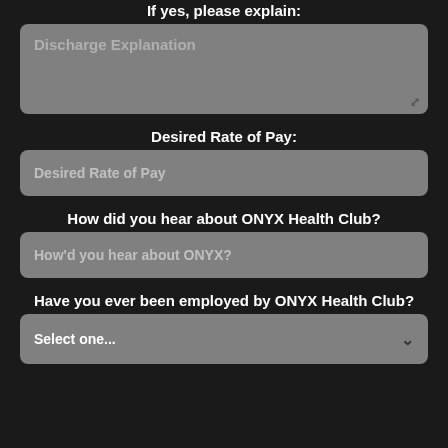If yes, please explain:
Discharge Explanation
Desired Rate of Pay:
Desired Rate of Pay
How did you hear about ONYX Health Club?
How'd you hear about ONYX?
Have you ever been employed by ONYX Health Club?
Select one...